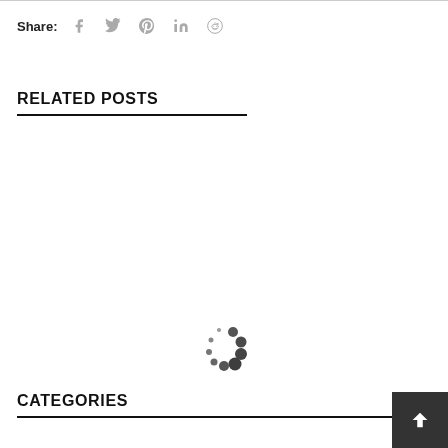Share: [social icons: facebook, twitter, pinterest, linkedin, reddit]
RELATED POSTS
[Figure (other): Loading spinner — circular arrangement of dots of varying sizes, indicating content is loading]
CATEGORIES